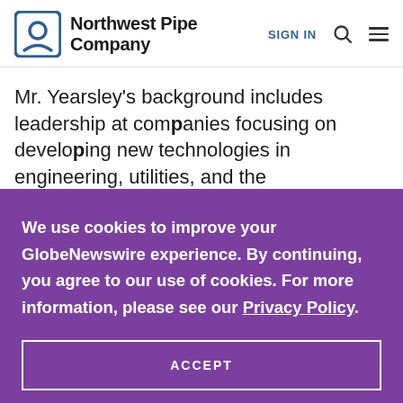Northwest Pipe Company — SIGN IN
Mr. Yearsley's background includes leadership at companies focusing on developing new technologies in engineering, utilities, and the
We use cookies to improve your GlobeNewswire experience. By continuing, you agree to our use of cookies. For more information, please see our Privacy Policy.
ACCEPT